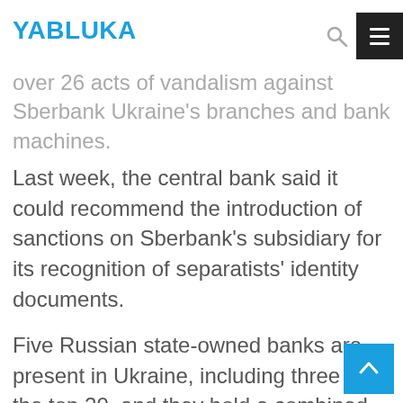YABLUKA
...over 26 acts of vandalism against Sberbank Ukraine's branches and bank machines.
Last week, the central bank said it could recommend the introduction of sanctions on Sberbank's subsidiary for its recognition of separatists' identity documents.
Five Russian state-owned banks are present in Ukraine, including three in the top 20, and they hold a combined market share of 8.6